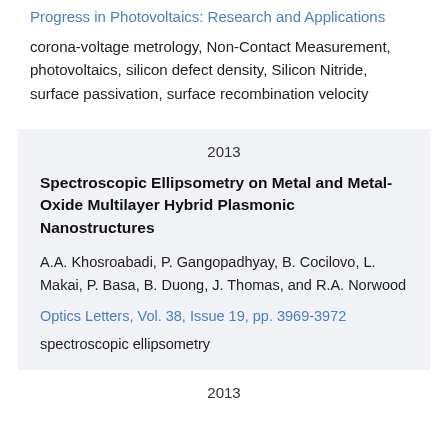Progress in Photovoltaics: Research and Applications
corona-voltage metrology, Non-Contact Measurement, photovoltaics, silicon defect density, Silicon Nitride, surface passivation, surface recombination velocity
2013
Spectroscopic Ellipsometry on Metal and Metal-Oxide Multilayer Hybrid Plasmonic Nanostructures
A.A. Khosroabadi, P. Gangopadhyay, B. Cocilovo, L. Makai, P. Basa, B. Duong, J. Thomas, and R.A. Norwood
Optics Letters, Vol. 38, Issue 19, pp. 3969-3972
spectroscopic ellipsometry
2013